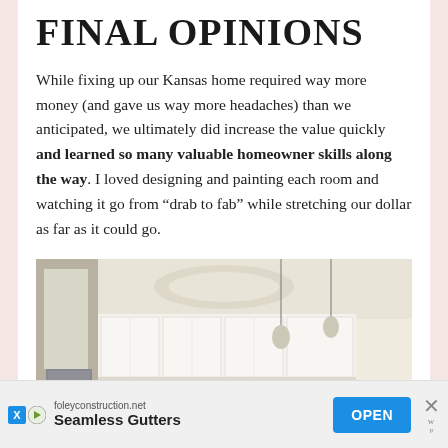FINAL OPINIONS
While fixing up our Kansas home required way more money (and gave us way more headaches) than we anticipated, we ultimately did increase the value quickly and learned so many valuable homeowner skills along the way. I loved designing and painting each room and watching it go from “drab to fab” while stretching our dollar as far as it could go.
[Figure (photo): Interior photo of a bright white kitchen with pendant lights hanging from the ceiling and white cabinets in the background.]
foleyconstruction.net Seamless Gutters OPEN